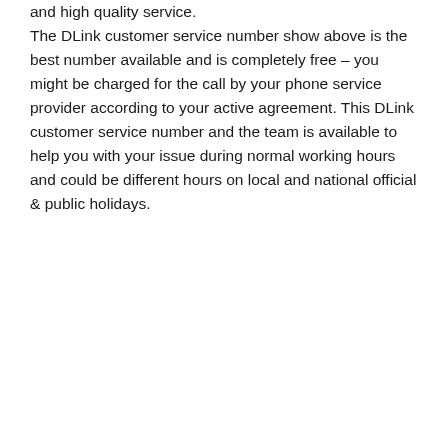and high quality service. The DLink customer service number show above is the best number available and is completely free – you might be charged for the call by your phone service provider according to your active agreement. This DLink customer service number and the team is available to help you with your issue during normal working hours and could be different hours on local and national official & public holidays.